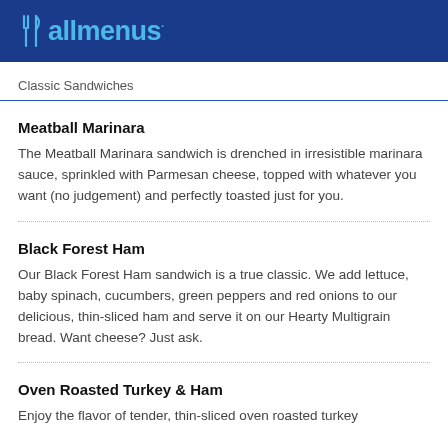allmenus
Classic Sandwiches
Meatball Marinara
The Meatball Marinara sandwich is drenched in irresistible marinara sauce, sprinkled with Parmesan cheese, topped with whatever you want (no judgement) and perfectly toasted just for you.
Black Forest Ham
Our Black Forest Ham sandwich is a true classic. We add lettuce, baby spinach, cucumbers, green peppers and red onions to our delicious, thin-sliced ham and serve it on our Hearty Multigrain bread. Want cheese? Just ask.
Oven Roasted Turkey & Ham
Enjoy the flavor of tender, thin-sliced oven roasted turkey